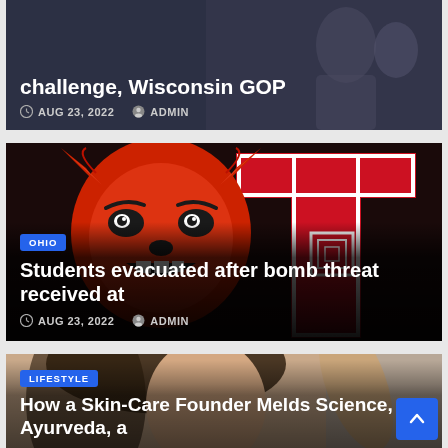[Figure (photo): Dark background article card (partial, top) - political topic with text overlay showing partial headline, date AUG 23 2022, author ADMIN]
challenge, Wisconsin GOP
AUG 23, 2022   ADMIN
[Figure (photo): Red mascot (wolf/wildcat) athletic logo on red and black background - Ohio article card]
OHIO
Students evacuated after bomb threat received at
AUG 23, 2022   ADMIN
[Figure (photo): Portrait photo of dark-haired woman touching her hair - Lifestyle article card]
LIFESTYLE
How a Skin-Care Founder Melds Science, Ayurveda, a